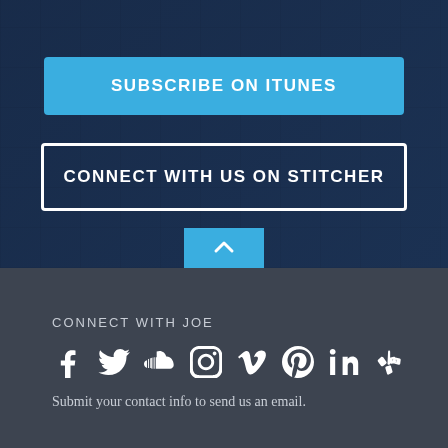SUBSCRIBE ON ITUNES
CONNECT WITH US ON STITCHER
CONNECT WITH JOE
[Figure (infographic): Social media icons row: Facebook, Twitter, SoundCloud, Instagram, Vimeo, Pinterest, LinkedIn, Yelp]
Submit your contact info to send us an email.